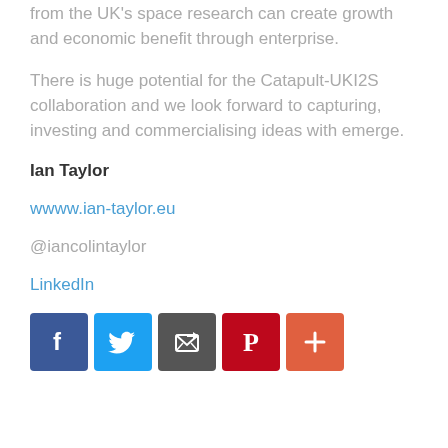from the UK's space research can create growth and economic benefit through enterprise.
There is huge potential for the Catapult-UKI2S collaboration and we look forward to capturing, investing and commercialising ideas with emerge.
Ian Taylor
wwww.ian-taylor.eu
@iancolintaylor
LinkedIn
[Figure (infographic): Social media sharing icons: Facebook (blue), Twitter (light blue), Email/share (dark grey), Pinterest (red), More/plus (orange-red)]